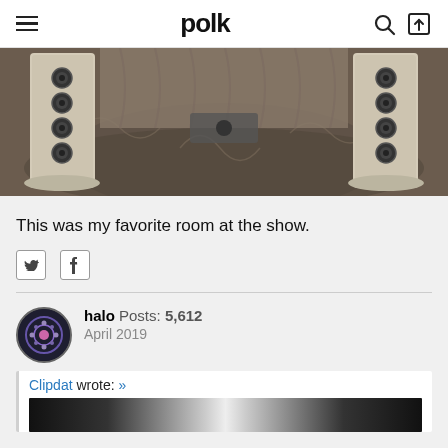polk
[Figure (photo): Photo of two tall speaker towers on a patterned carpet in an audio listening room, viewed from slightly above and between the speakers looking toward a curtained back wall.]
This was my favorite room at the show.
Twitter and Facebook share icons
halo  Posts: 5,612  April 2019
Clipdat wrote: »